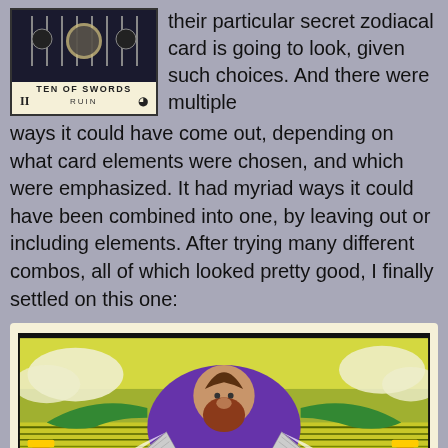[Figure (illustration): Ten of Swords tarot card with dark background showing swords at top, card title 'TEN OF SWORDS', subtitle 'RUIN', astrological symbols Gemini (II) and Sun on sides]
their particular secret zodiacal card is going to look, given such choices. And there were multiple ways it could have come out, depending on what card elements were chosen, and which were emphasized. It had myriad ways it could have been combined into one, by leaving out or including elements. After trying many different combos, all of which looked pretty good, I finally settled on this one:
[Figure (illustration): Tarot card illustration showing a bearded dwarf-like figure with wings spread, green arms outstretched, wearing purple, set against a dramatic sky background with yellows and greens]